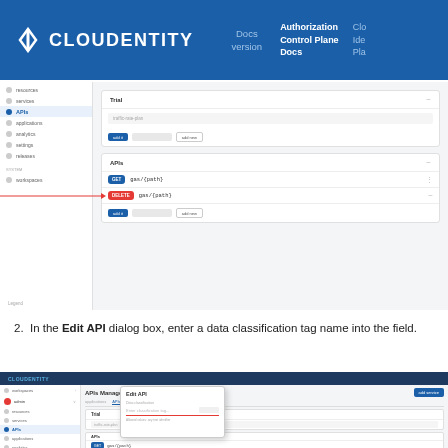CLOUDENTITY — Docs version — Authorization Control Plane Docs — Cloud Identity Plan
[Figure (screenshot): Cloudentity admin UI screenshot showing APIs management page with sidebar navigation and two API endpoint rows (GET and DELETE), with a red arrow pointing to the DELETE row]
2. In the Edit API dialog box, enter a data classification tag name into the field.
[Figure (screenshot): Cloudentity admin UI screenshot showing APIs Management page with Edit API dialog box open, containing a data classification tag name input field]